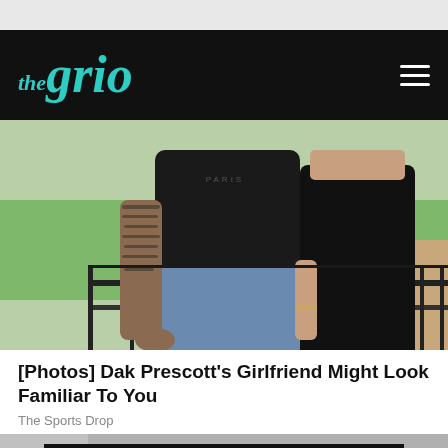[Figure (logo): The Grio logo in teal on black navigation bar with hamburger menu icon]
[Figure (photo): A couple standing on a balcony. A tattooed man in a black Paris t-shirt and light jeans stands next to a woman in a black dress. Green lawn and wooden decking visible in background.]
[Photos] Dak Prescott's Girlfriend Might Look Familiar To You
The Sports Drop
[Figure (screenshot): The Grio advertisement banner showing logo, Michelle Obama and Eddie Murphy book covers, and a teal Watch Now button]